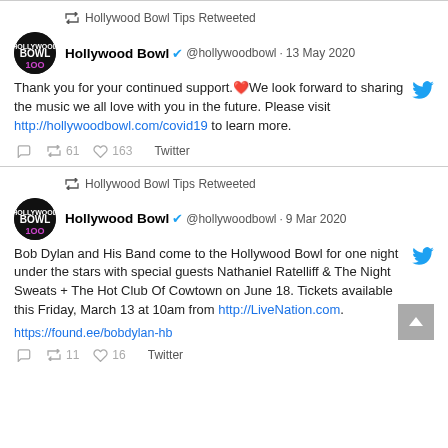Hollywood Bowl Tips Retweeted
Hollywood Bowl @hollywoodbowl · 13 May 2020
Thank you for your continued support.❤️We look forward to sharing the music we all love with you in the future. Please visit http://hollywoodbowl.com/covid19 to learn more.
61 retweets · 163 likes · Twitter
Hollywood Bowl Tips Retweeted
Hollywood Bowl @hollywoodbowl · 9 Mar 2020
Bob Dylan and His Band come to the Hollywood Bowl for one night under the stars with special guests Nathaniel Ratelliff & The Night Sweats + The Hot Club Of Cowtown on June 18. Tickets available this Friday, March 13 at 10am from http://LiveNation.com.
https://found.ee/bobdylan-hb
11 retweets · 16 likes · Twitter